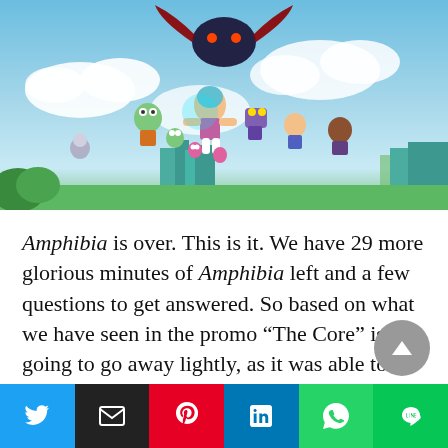[Figure (illustration): Animated illustration showing characters from the show Amphibia flying through a sky with city buildings in the background. Multiple cartoon frog and human characters are depicted in an action scene.]
Amphibia is over. This is it. We have 29 more glorious minutes of Amphibia left and a few questions to get answered. So based on what we have seen in the promo "The Core" is not going to go away lightly, as it was able to sneak away during the battle, and it will use the artificial moon, to destroy Amphibia we assume? We also